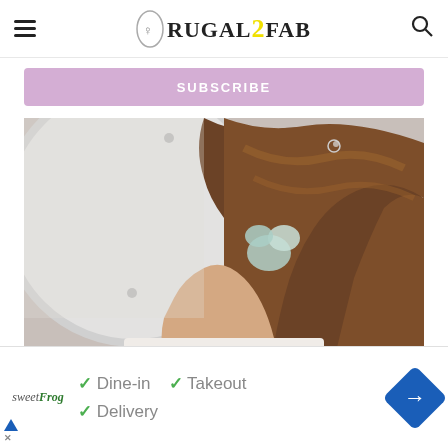Frugal2Fab — navigation header with hamburger menu and search icon
SUBSCRIBE
[Figure (photo): Back view of a woman with brown curly hair, a flower hair accessory, and a mirror reflection, from an Instagram embed]
View more on Instagram
[Figure (infographic): Instagram action icons: heart (like), comment bubble, share arrow, and bookmark]
3,330 likes
sweetFrog  ✓ Dine-in  ✓ Takeout  ✓ Delivery  (advertisement with navigation arrow icon)